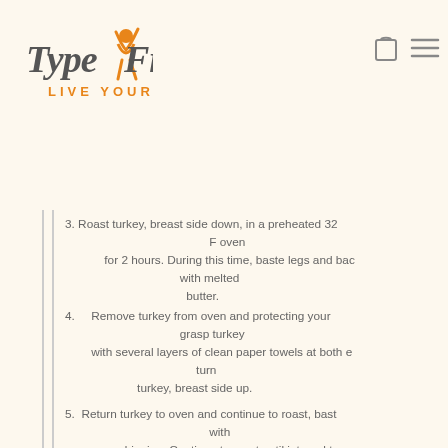[Figure (logo): TypeFree logo with orange figure and text 'LIVE YOUR LIFE']
3. Roast turkey, breast side down, in a preheated 32 F oven for 2 hours. During this time, baste legs and back with melted butter.
4.   Remove turkey from oven and protecting your grasp turkey with several layers of clean paper towels at both e turn turkey, breast side up.
5.  Return turkey to oven and continue to roast, bast with pan dripping. Continue to roast until internal temp reaches 170 degrees F in the breast and 180 degrees F in the NOTE: A brined turkey cooks slightly faster than an unbrined tur